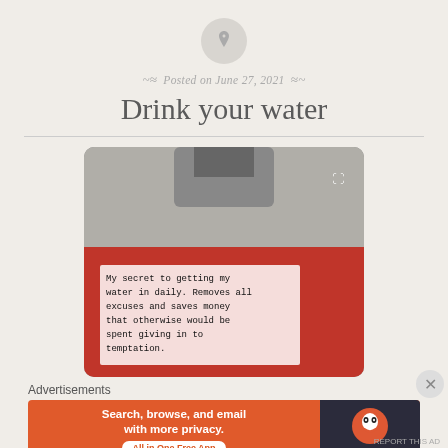[Figure (other): Pin/bookmark icon in a circular grey button at top center]
Posted on June 27, 2021
Drink your water
[Figure (photo): Photo of a large red and grey water jug/cooler with overlay text: My secret to getting my water in daily. Removes all excuses and saves money that otherwise would be spent giving in to temptation.]
Advertisements
[Figure (other): DuckDuckGo advertisement banner: Search, browse, and email with more privacy. All in One Free App. DuckDuckGo logo on dark right panel.]